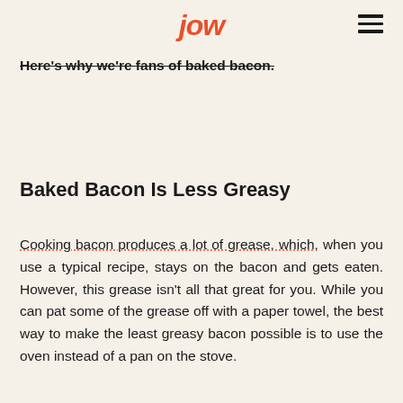jow
Here's why we're fans of baked bacon.
Baked Bacon Is Less Greasy
Cooking bacon produces a lot of grease, which, when you use a typical recipe, stays on the bacon and gets eaten. However, this grease isn't all that great for you. While you can pat some of the grease off with a paper towel, the best way to make the least greasy bacon possible is to use the oven instead of a pan on the stove.